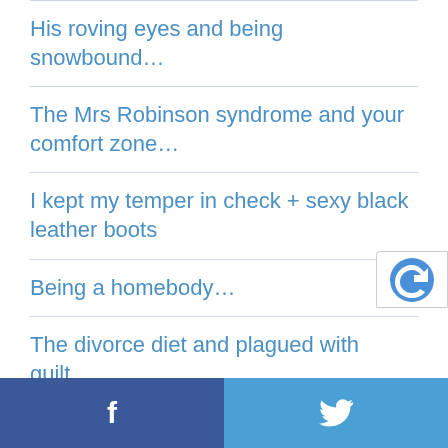His roving eyes and being snowbound…
The Mrs Robinson syndrome and your comfort zone…
I kept my temper in check + sexy black leather boots
Being a homebody…
The divorce diet and plagued with guilt…
The 'snowbound effect', cougars and chocolate chip cookies….
Lovelie ladies on the larger size…
f  [twitter icon]